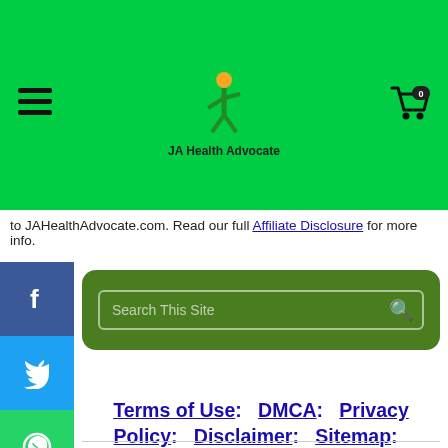[Figure (screenshot): JA Health Advocate website header with green background, hamburger menu icon, logo with figure graphic, and shopping cart icon with 0 badge]
to JAHealthAdvocate.com. Read our full Affiliate Disclosure for more info.
[Figure (infographic): Social media share buttons column: Facebook (blue), Twitter (blue), WhatsApp (green), Email (red), Messenger (blue), Instagram (gradient), More (grey)]
[Figure (screenshot): Search box with placeholder text 'Search This Site' on dark green rounded background with search icon]
Terms of Use:   DMCA:   Privacy Policy:   Disclaimer:   Sitemap:   Comments Policy:   Affiliate Disclosure:   Advertising:   Our Beliefs:   PMA